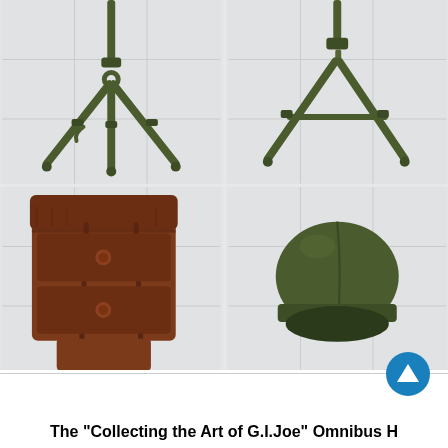[Figure (photo): Four-panel photo grid showing G.I. Joe action figure accessories: top-left shows a dark olive green tripod/bipod stand piece, top-right shows another olive green tripod/stand piece from different angle, bottom-left shows a brown backpack/pouch accessory, bottom-right shows an olive green military helmet]
The "Collecting the Art of G.I.Joe" Omnibus H